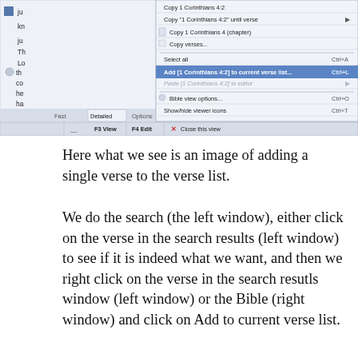[Figure (screenshot): Screenshot of a Bible software application showing a right-click context menu with options including 'Copy 1 Corinthians 4:2', 'Copy "1 Corinthians 4:2" until verse', 'Copy 1 Corinthians 4 (chapter)', 'Copy verses...', 'Select all (Ctrl+A)', 'Add [1 Corinthians 4:2] to current verse list... (Ctrl+L)' highlighted in blue, 'Paste [1 Corinthians 4:2] to editor', 'Bible view options... (Ctrl+O)', 'Show/hide viewer icons (Ctrl+T)', 'Close this view'. Bottom bar shows F3 View, F4 Edit, and Close this view buttons.]
Here what we see is an image of adding a single verse to the verse list.
We do the search (the left window), either click on the verse in the search results (left window) to see if it is indeed what we want, and then we right click on the verse in the search resutls window (left window) or the Bible (right window) and click on Add to current verse list.